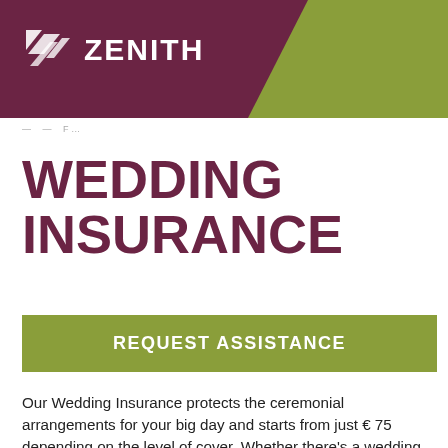[Figure (logo): Zenith logo with zigzag icon on purple and green banner header]
— — F...
WEDDING INSURANCE
REQUEST ASSISTANCE
Our Wedding Insurance protects the ceremonial arrangements for your big day and starts from just € 75 depending on the level of cover. Whether there's a wedding cancellation or your chosen wedding venue has gone into liquidation, it is important to have peace of mind with us providing you with the choice of five different levels of cover and with a package to suit